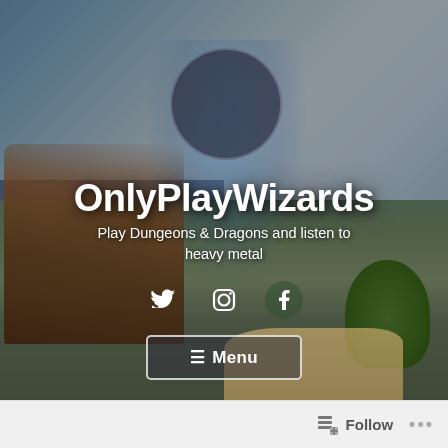[Figure (photo): Tabletop miniatures/Dungeons & Dragons scene with painted figurines on a boat on a fantasy map board, with ocean and land terrain. A wizard miniature is highlighted with a circular frame in the center.]
OnlyPlayWizards
Play Dungeons & Dragons and listen to heavy metal
[Figure (other): Social media icons: Twitter (bird), Instagram (camera), Facebook (f)]
≡ Menu
Follow ...